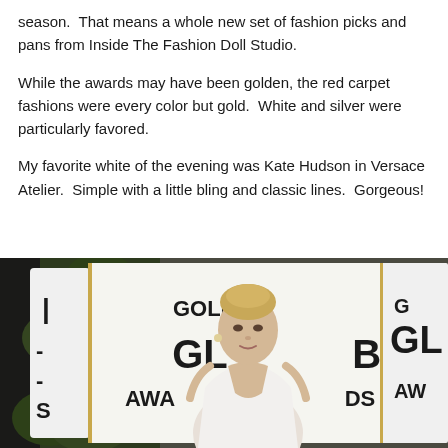season.  That means a whole new set of fashion picks and pans from Inside The Fashion Doll Studio.
While the awards may have been golden, the red carpet fashions were every color but gold.  White and silver were particularly favored.
My favorite white of the evening was Kate Hudson in Versace Atelier.  Simple with a little bling and classic lines.  Gorgeous!
[Figure (photo): Kate Hudson at the Golden Globe Awards red carpet, wearing a white halter dress, standing in front of a Golden Globe Awards backdrop with green foliage visible on the left side.]